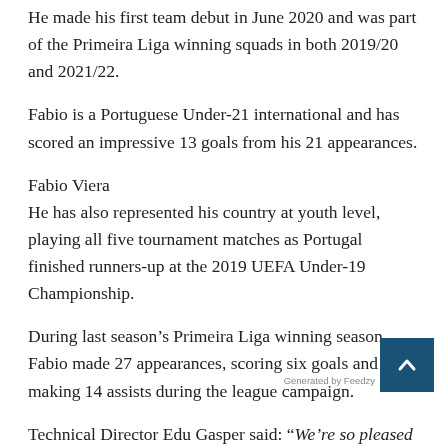He made his first team debut in June 2020 and was part of the Primeira Liga winning squads in both 2019/20 and 2021/22.
Fabio is a Portuguese Under-21 international and has scored an impressive 13 goals from his 21 appearances.
Fabio Viera
He has also represented his country at youth level, playing all five tournament matches as Portugal finished runners-up at the 2019 UEFA Under-19 Championship.
During last season’s Primeira Liga winning season, Fabio made 27 appearances, scoring six goals and making 14 assists during the league campaign.
Technical Director Edu Gasper said: “We’re so pleased to have completed the signing of Fabio from FC